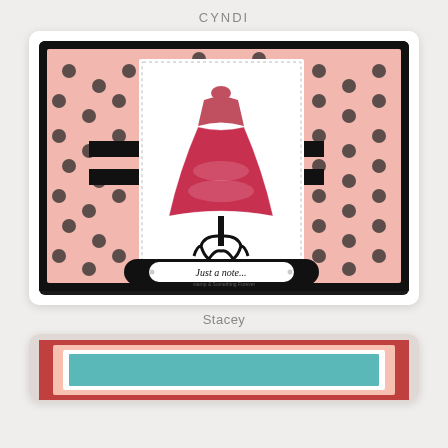CYNDI
[Figure (photo): Handmade greeting card with pink polka dot background, black border, white panel featuring a dress form/mannequin with a red patterned dress, and a 'Just a note...' sentiment label at the bottom]
Stacey
[Figure (photo): Partial view of another handmade card with red/pink and teal color scheme]